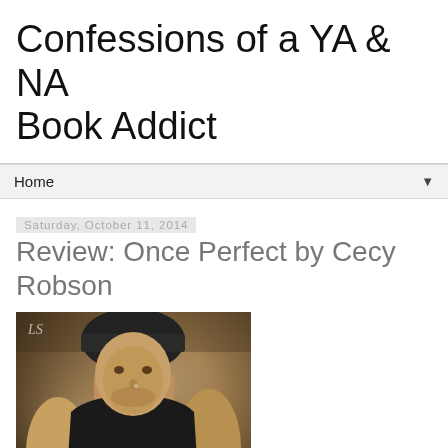Confessions of a YA & NA Book Addict
Home
Saturday, October 11, 2014
Review: Once Perfect by Cecy Robson
[Figure (photo): Book cover of 'Once Perfect' by Cecy Robson showing a muscular man in a black tank top and beanie hat, with the word ONCE visible at the bottom. Watermark 'LS' in upper left corner.]